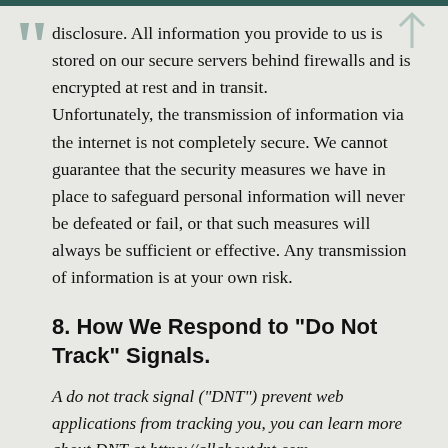disclosure. All information you provide to us is stored on our secure servers behind firewalls and is encrypted at rest and in transit. Unfortunately, the transmission of information via the internet is not completely secure. We cannot guarantee that the security measures we have in place to safeguard personal information will never be defeated or fail, or that such measures will always be sufficient or effective. Any transmission of information is at your own risk.
8. How We Respond to “Do Not Track” Signals.
A do not track signal (“DNT”) prevent web applications from tracking you, you can learn more about DNT at https://allaboutdnt.com. Your web browser may let you choose your